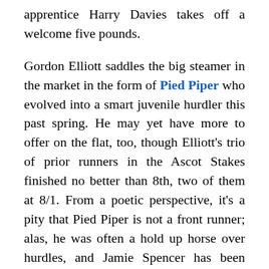apprentice Harry Davies takes off a welcome five pounds.

Gordon Elliott saddles the big steamer in the market in the form of Pied Piper who evolved into a smart juvenile hurdler this past spring. He may yet have more to offer on the flat, too, though Elliott's trio of prior runners in the Ascot Stakes finished no better than 8th, two of them at 8/1. From a poetic perspective, it's a pity that Pied Piper is not a front runner; alas, he was often a hold up horse over hurdles, and Jamie Spencer has been booked to ride. So if you fancy this one, you know the type of transit you'll be watching - caveat emptor and